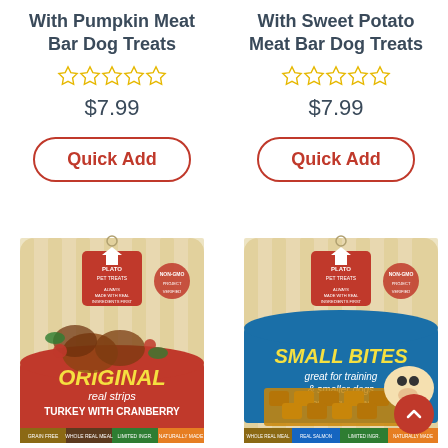With Pumpkin Meat Bar Dog Treats
With Sweet Potato Meat Bar Dog Treats
$7.99
$7.99
Quick Add
Quick Add
[Figure (photo): Plato Pet Treats bag - Original Real Strips Turkey with Cranberry]
[Figure (photo): Plato Pet Treats bag - Small Bites great for training & smaller dogs, made with salmon]